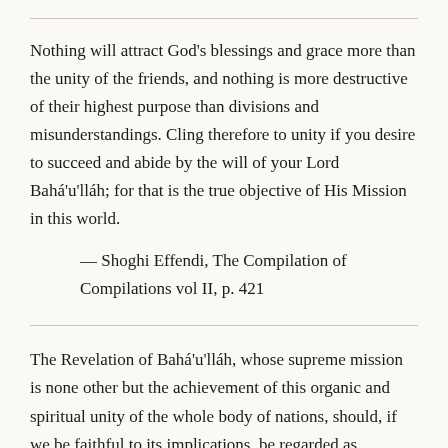Nothing will attract God's blessings and grace more than the unity of the friends, and nothing is more destructive of their highest purpose than divisions and misunderstandings. Cling therefore to unity if you desire to succeed and abide by the will of your Lord Bahá'u'lláh; for that is the true objective of His Mission in this world.
— Shoghi Effendi, The Compilation of Compilations vol II, p. 421
The Revelation of Bahá'u'lláh, whose supreme mission is none other but the achievement of this organic and spiritual unity of the whole body of nations, should, if we be faithful to its implications, be regarded as signalizing through its advent the (coming of age of the entire human race.